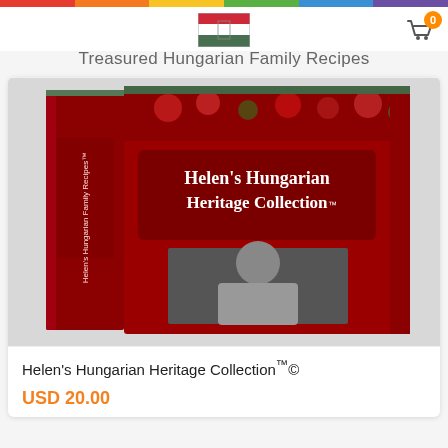Treasured Hungarian Family Recipes
[Figure (photo): Book cover image of Helen's Hungarian Heritage Collection - a dark red hardcover book with floral border and author photo]
Helen's Hungarian Heritage Collection™©
USD 20.00